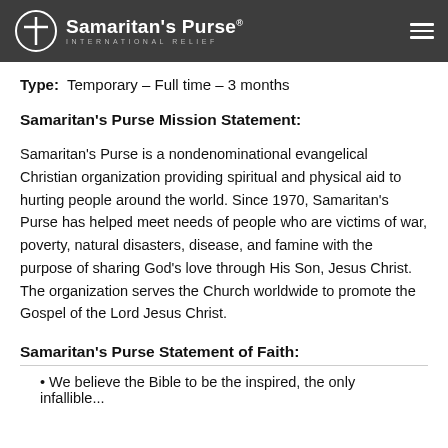Samaritan's Purse INTERNATIONAL RELIEF
Type:  Temporary – Full time – 3 months
Samaritan's Purse Mission Statement:
Samaritan's Purse is a nondenominational evangelical Christian organization providing spiritual and physical aid to hurting people around the world. Since 1970, Samaritan's Purse has helped meet needs of people who are victims of war, poverty, natural disasters, disease, and famine with the purpose of sharing God's love through His Son, Jesus Christ. The organization serves the Church worldwide to promote the Gospel of the Lord Jesus Christ.
Samaritan's Purse Statement of Faith:
• We believe the Bible to be the inspired, the only infallible...